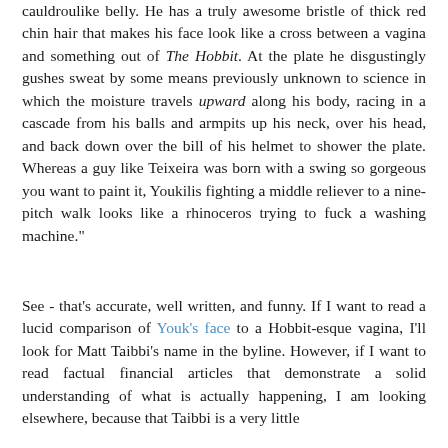cauldroulike belly. He has a truly awesome bristle of thick red chin hair that makes his face look like a cross between a vagina and something out of The Hobbit. At the plate he disgustingly gushes sweat by some means previously unknown to science in which the moisture travels upward along his body, racing in a cascade from his balls and armpits up his neck, over his head, and back down over the bill of his helmet to shower the plate. Whereas a guy like Teixeira was born with a swing so gorgeous you want to paint it, Youkilis fighting a middle reliever to a nine-pitch walk looks like a rhinoceros trying to fuck a washing machine."
See - that's accurate, well written, and funny. If I want to read a lucid comparison of Youk's face to a Hobbit-esque vagina, I'll look for Matt Taibbi's name in the byline. However, if I want to read factual financial articles that demonstrate a solid understanding of what is actually happening, I am looking elsewhere, because that Taibbi is a very little...